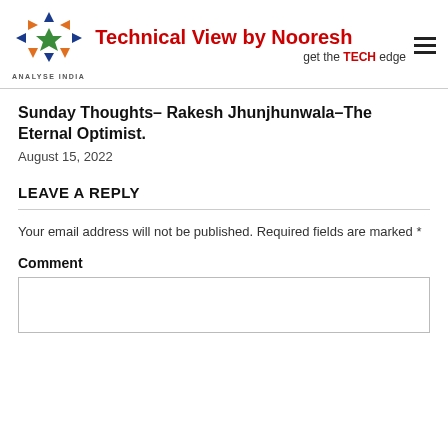Technical View by Nooresh — get the TECH edge — ANALYSE INDIA
Sunday Thoughts– Rakesh Jhunjhunwala–The Eternal Optimist.
August 15, 2022
LEAVE A REPLY
Your email address will not be published. Required fields are marked *
Comment